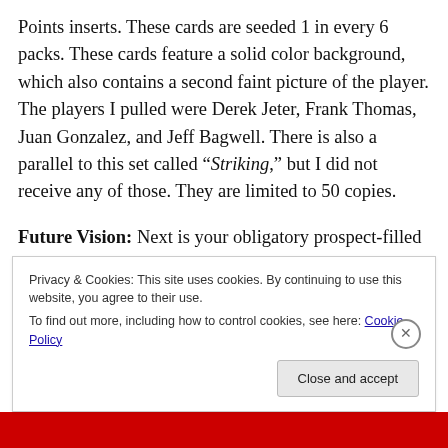Points inserts. These cards are seeded 1 in every 6 packs. These cards feature a solid color background, which also contains a second faint picture of the player. The players I pulled were Derek Jeter, Frank Thomas, Juan Gonzalez, and Jeff Bagwell. There is also a parallel to this set called “Striking,” but I did not receive any of those. They are limited to 50 copies.
Future Vision: Next is your obligatory prospect-filled insert set, called Future Vision. These vibrant inserts can be found 1 in every 8 packs. I pulled inserts of Ruben
Privacy & Cookies: This site uses cookies. By continuing to use this website, you agree to their use.
To find out more, including how to control cookies, see here: Cookie Policy